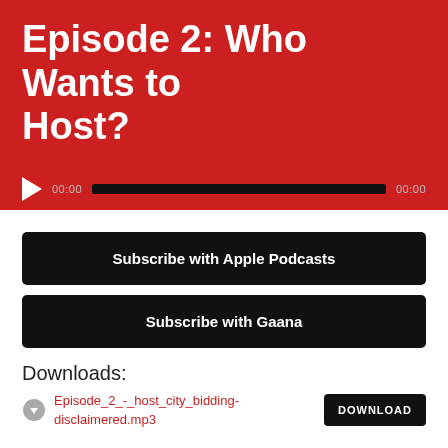Episode 2: Who Wants to Host?
[Figure (other): Audio player bar with play button, time labels (00:00 and 00:00), and a dark progress track on a red background]
Subscribe with Apple Podcasts
Subscribe with Gaana
Downloads:
Episode_2_-_host_city_bidding-disclaimered.mp3